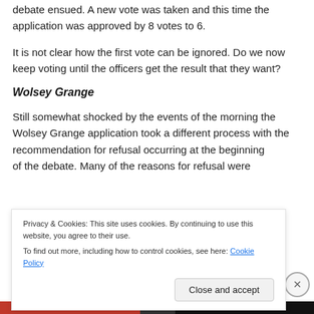debate ensued. A new vote was taken and this time the application was approved by 8 votes to 6.
It is not clear how the first vote can be ignored. Do we now keep voting until the officers get the result that they want?
Wolsey Grange
Still somewhat shocked by the events of the morning the Wolsey Grange application took a different process with the recommendation for refusal occurring at the beginning of the debate. Many of the reasons for refusal were
Privacy & Cookies: This site uses cookies. By continuing to use this website, you agree to their use.
To find out more, including how to control cookies, see here: Cookie Policy
Close and accept